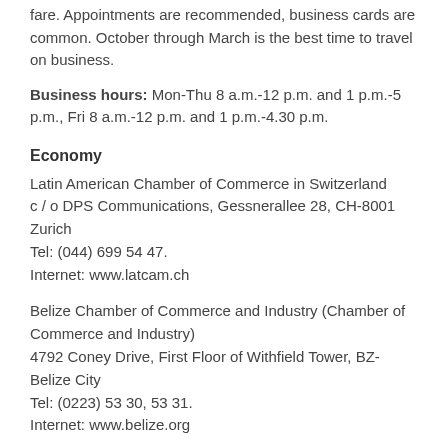fare. Appointments are recommended, business cards are common. October through March is the best time to travel on business.
Business hours: Mon-Thu 8 a.m.-12 p.m. and 1 p.m.-5 p.m., Fri 8 a.m.-12 p.m. and 1 p.m.-4.30 p.m.
Economy
Latin American Chamber of Commerce in Switzerland
c / o DPS Communications, Gessnerallee 28, CH-8001 Zurich
Tel: (044) 699 54 47.
Internet: www.latcam.ch
Belize Chamber of Commerce and Industry (Chamber of Commerce and Industry)
4792 Coney Drive, First Floor of Withfield Tower, BZ-Belize City
Tel: (0223) 53 30, 53 31.
Internet: www.belize.org
Belize Trade and Investment Development Services (BELTRAIDE)
14 Orchid Gardens Street, Belmopan, BZ-Belize
Tel: (08) 22 37 37.
Internet: www.belizeinvest.org.bz